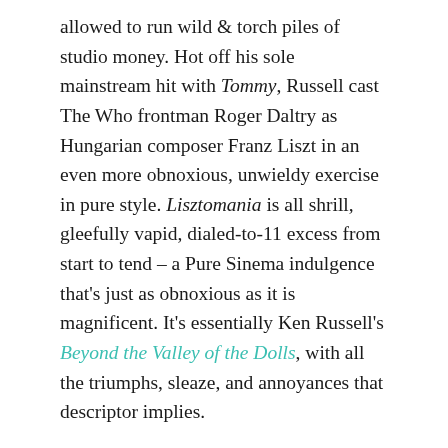allowed to run wild & torch piles of studio money. Hot off his sole mainstream hit with Tommy, Russell cast The Who frontman Roger Daltry as Hungarian composer Franz Liszt in an even more obnoxious, unwieldy exercise in pure style. Lisztomania is all shrill, gleefully vapid, dialed-to-11 excess from start to tend – a Pure Sinema indulgence that's just as obnoxious as it is magnificent. It's essentially Ken Russell's Beyond the Valley of the Dolls, with all the triumphs, sleaze, and annoyances that descriptor implies.
In a proto-Velvet Goldmine meltdown between reality & fantasy, Russell positions Liszt as a glam rockstar heartthrob more befitting of the 1970s than the 1800s. The film opens backstage at a wild orgiastic party preceding one of his concerts, where hundreds of squealing teen girls demand that he play "Chopsticks"